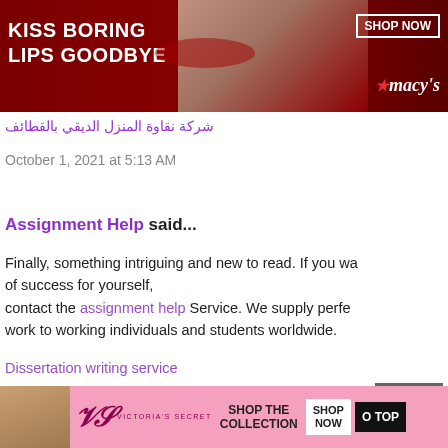[Figure (photo): Macy's advertisement banner: 'KISS BORING LIPS GOODBYE' with red background, woman's face, and SHOP NOW button with Macy's star logo]
شركة نقاوة المنزل الديقي بالقطائف
October 1, 2021 at 5:13 AM
Assignment Help said...
Finally, something intriguing and new to read. If you wa of success for yourself, contact the assignment help Service. We supply perfe work to working individuals and students worldwide.
Dissertation writing service
Essay Writing Service
Thesis Help
My Assignment Help
Assignment Help Service
Homework Help
[Figure (photo): Victoria's Secret advertisement banner with pink background, model, VS logo, SHOP THE COLLECTION text, SHOP NOW button, and GO TO TOP button]